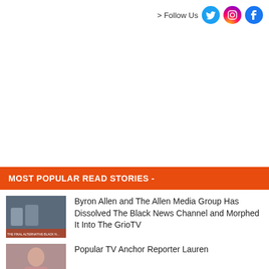> Follow Us
MOST POPULAR READ STORIES -
[Figure (photo): TV news broadcast thumbnail showing two men]
Byron Allen and The Allen Media Group Has Dissolved The Black News Channel and Morphed It Into The GrioTV
[Figure (photo): Photo of a woman TV anchor reporter]
Popular TV Anchor Reporter Lauren